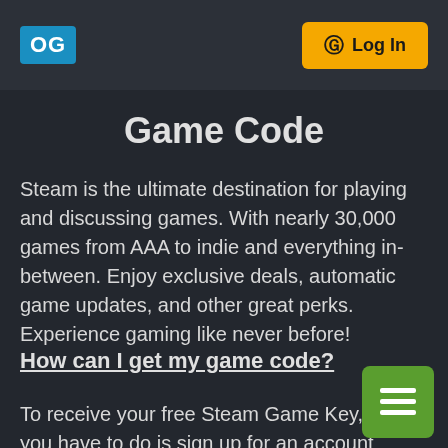OG | Log In
Game Code
Steam is the ultimate destination for playing and discussing games. With nearly 30,000 games from AAA to indie and everything in-between. Enjoy exclusive deals, automatic game updates, and other great perks. Experience gaming like never before!
How can I get my game code?
To receive your free Steam Game Key, all you have to do is sign up for an account on